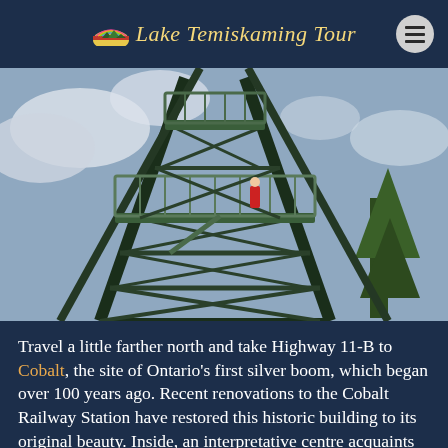Lake Temiskaming Tour
[Figure (photo): Looking up at a tall metal fire/observation tower structure with steel cross-bracing and a viewing platform with railings, surrounded by trees against a blue-grey cloudy sky.]
Travel a little farther north and take Highway 11-B to Cobalt, the site of Ontario's first silver boom, which began over 100 years ago. Recent renovations to the Cobalt Railway Station have restored this historic building to its original beauty. Inside, an interpretative centre acquaints visitors with the